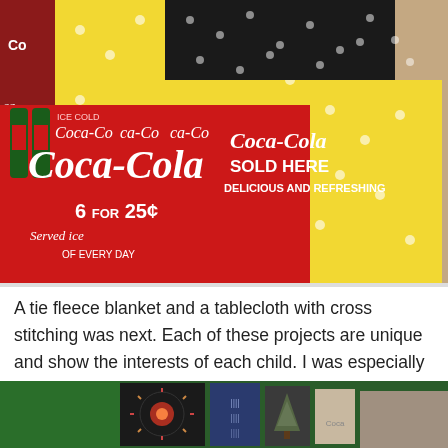[Figure (photo): A quilt made with Coca-Cola branded fabric (red with white Coca-Cola logos, 'Sold Here', 'Delicious and Refreshing', '6 for 25 cents' text) combined with yellow floral/daisy print fabric and black patterned fabric squares.]
A tie fleece blanket and a tablecloth with cross stitching was next. Each of these projects are unique and show the interests of each child. I was especially happy to see the cross stitch as many young people have never seen this, much less know how to make them. The stitches on this were clean and even.
[Figure (photo): Partial view of framed cross stitch and needlework pieces displayed, including what appears to be a fireworks or floral cross stitch design on dark background, and other textile/book items.]